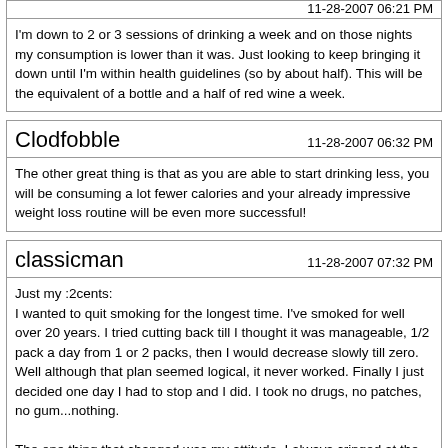11-28-2007 06:21 PM
I'm down to 2 or 3 sessions of drinking a week and on those nights my consumption is lower than it was. Just looking to keep bringing it down until I'm within health guidelines (so by about half). This will be the equivalent of a bottle and a half of red wine a week.
Clodfobble
11-28-2007 06:32 PM
The other great thing is that as you are able to start drinking less, you will be consuming a lot fewer calories and your already impressive weight loss routine will be even more successful!
classicman
11-28-2007 07:32 PM
Just my :2cents:
I wanted to quit smoking for the longest time. I've smoked for well over 20 years. I tried cutting back till I thought it was manageable, 1/2 pack a day from 1 or 2 packs, then I would decrease slowly till zero. Well although that plan seemed logical, it never worked. Finally I just decided one day I had to stop and I did. I took no drugs, no patches, no gum...nothing.

The one thing that changed was my attitude. I always cringed at the thought of NEVER smoking again. This time I just said I'll take a break till I'm 70, then I'll smoke all I want. I know it sounds stupid, but its made it so much easier. I am several months not smoking and I can't imagine smoking any time soon.